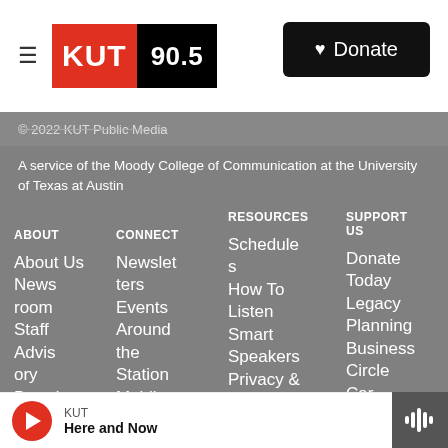KUT 90.5 — Donate
© 2022 KUT Public Media
A service of the Moody College of Communication at the University of Texas at Austin
ABOUT
About Us
Newsroom
Staff
Advisory Board
News Releases
CONNECT
Newsletters
Events
Around the Station
Mobile Guide
Volunteer
RESOURCES
Schedules
How To Listen
Smart Speakers
Privacy & Terms
Annual EEO Report (pdf)
SUPPORT US
Donate Today
Legacy Planning
Business Circle
Car Donation
Sponsorship
KUT — Here and Now